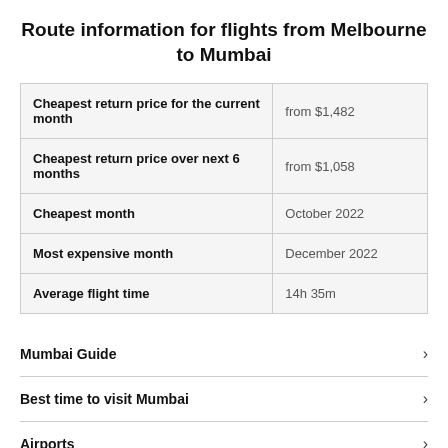Route information for flights from Melbourne to Mumbai
|  |  |
| --- | --- |
| Cheapest return price for the current month | from $1,482 |
| Cheapest return price over next 6 months | from $1,058 |
| Cheapest month | October 2022 |
| Most expensive month | December 2022 |
| Average flight time | 14h 35m |
Mumbai Guide
Best time to visit Mumbai
Airports